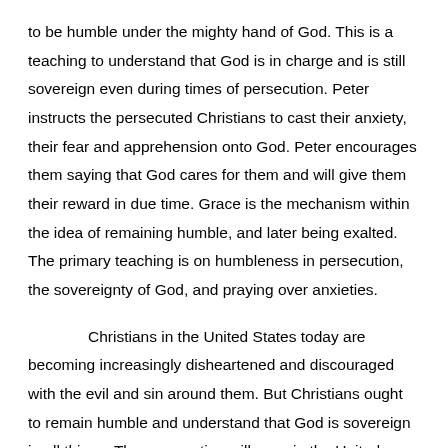to be humble under the mighty hand of God. This is a teaching to understand that God is in charge and is still sovereign even during times of persecution. Peter instructs the persecuted Christians to cast their anxiety, their fear and apprehension onto God. Peter encourages them saying that God cares for them and will give them their reward in due time. Grace is the mechanism within the idea of remaining humble, and later being exalted. The primary teaching is on humbleness in persecution, the sovereignty of God, and praying over anxieties.
Christians in the United States today are becoming increasingly disheartened and discouraged with the evil and sin around them. But Christians ought to remain humble and understand that God is sovereign in all things. The persecution will grow in the United States, as the secular world casts aside Christian truth in favor of pluralism and sin. God has not